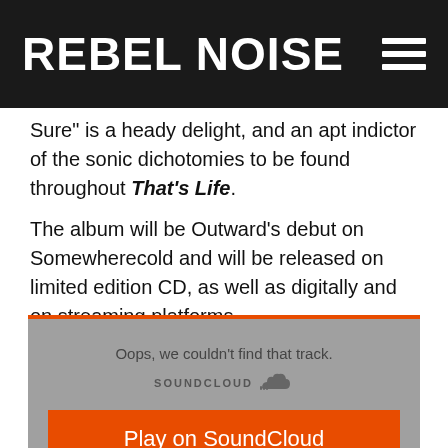REBEL NOISE
Sure" is a heady delight, and an apt indictor of the sonic dichotomies to be found throughout That's Life.
The album will be Outward's debut on Somewherecold and will be released on limited edition CD, as well as digitally and on streaming platforms.
[Figure (screenshot): SoundCloud embedded player widget showing 'Oops, we couldn't find that track.' error message with orange 'Play on SoundCloud' button and grey 'Listen in browser' button]
Oops, we couldn't find that track.